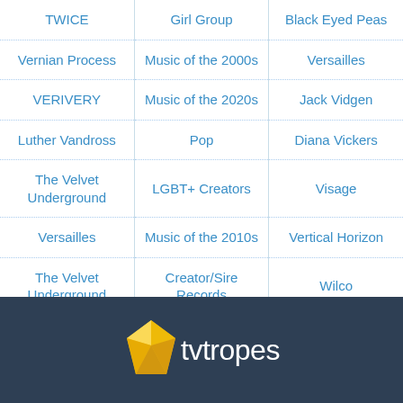| TWICE | Girl Group | Black Eyed Peas |
| Vernian Process | Music of the 2000s | Versailles |
| VERIVERY | Music of the 2020s | Jack Vidgen |
| Luther Vandross | Pop | Diana Vickers |
| The Velvet Underground | LGBT+ Creators | Visage |
| Versailles | Music of the 2010s | Vertical Horizon |
| The Velvet Underground | Creator/Sire Records | Wilco |
[Figure (logo): TV Tropes logo with yellow gem/diamond shape and white text 'tvitropes' on dark blue background]